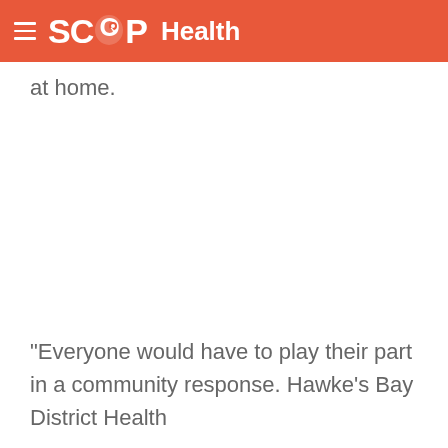SCOOP Health
at home.
“Everyone would have to play their part in a community response. Hawke’s Bay District Health